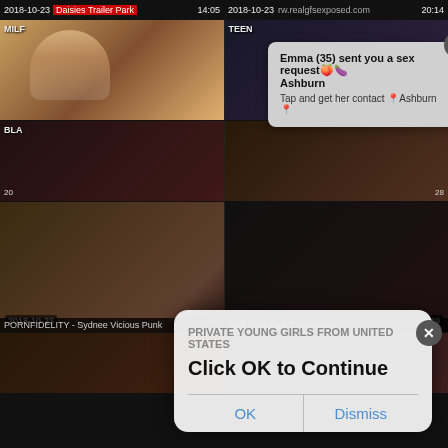2018-10-23  Daisies Trailer Park  14:05  |  2018-10-23  rw.realgfsexposed.com  20:14
[Figure (screenshot): Video thumbnail grid showing adult video website with popup dialogs. Top row shows two video thumbnails with dates and durations. Middle section has a notification popup: 'Emma (35) sent you a sex request Ashburn Tap and get her contact Ashburn' with close button. Lower section has an iOS-style dialog: 'PRIVATE YOUNG GIRLS FROM United States / Click OK to Continue' with OK and Dismiss buttons. Bottom thumbnails include PORNFIDELITY - Sydnee Vicious Punk (2018-10-23, 15:36) and Oral Creampie Compilation (2018-10-23, 14:49).]
Emma (35) sent you a sex request
Ashburn
Tap and get her contact ÐAshburn Ð
PRIVATE YOUNG GIRLS FROM United States
Click OK to Continue
OK
Dismiss
PORNFIDELITY - Sydnee Vicious Punk
Oral Creampie Compilation